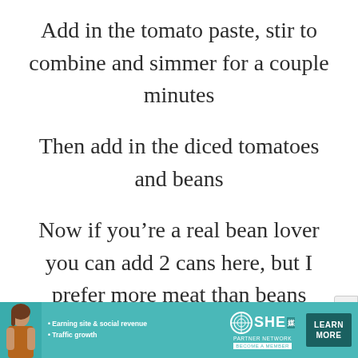Add in the tomato paste, stir to combine and simmer for a couple minutes
Then add in the diced tomatoes and beans
Now if you’re a real bean lover you can add 2 cans here, but I prefer more meat than beans
[Figure (screenshot): Advertisement banner for SHE Media Partner Network featuring a woman, bullet points about earning site & social revenue and traffic growth, SHE logo, and a Learn More button.]